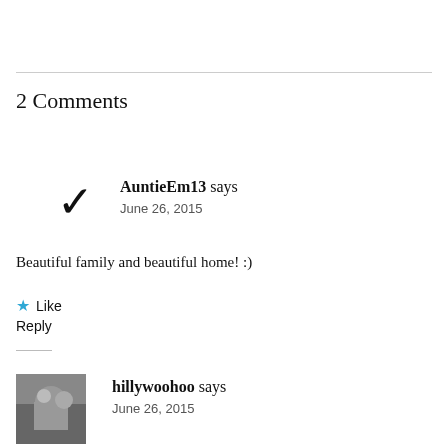2 Comments
AuntieEm13 says
June 26, 2015
Beautiful family and beautiful home! :)
Like
Reply
hillywoohoo says
June 26, 2015